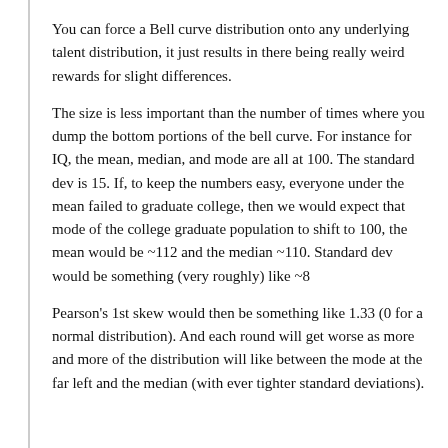You can force a Bell curve distribution onto any underlying talent distribution, it just results in there being really weird rewards for slight differences.
The size is less important than the number of times where you dump the bottom portions of the bell curve. For instance for IQ, the mean, median, and mode are all at 100. The standard dev is 15. If, to keep the numbers easy, everyone under the mean failed to graduate college, then we would expect that mode of the college graduate population to shift to 100, the mean would be ~112 and the median ~110. Standard dev would be something (very roughly) like ~8
Pearson's 1st skew would then be something like 1.33 (0 for a normal distribution). And each round will get worse as more and more of the distribution will like between the mode at the far left and the median (with ever tighter standard deviations).